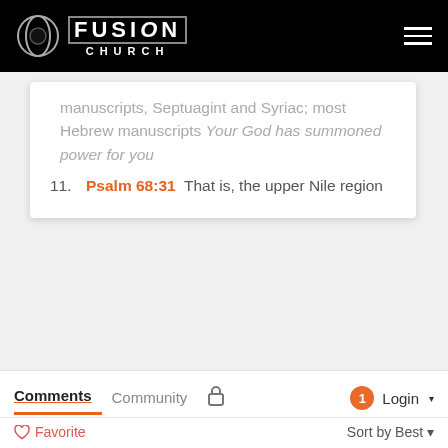FUSION CHURCH
manuscripts, Septuagint and Syriac; most Hebrew manuscripts Your God has summoned power for you
11. Psalm 68:31 That is, the upper Nile region
Comments  Community  [lock]  1  Login  |  Favorite  Sort by Best